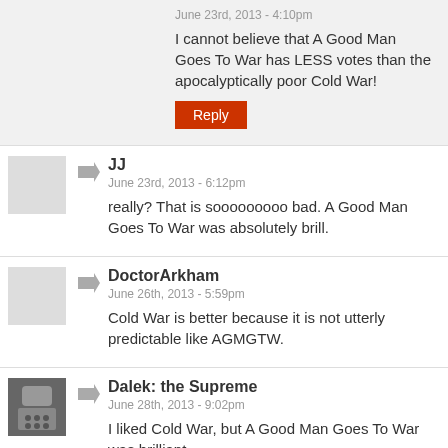June 23rd, 2013 - 4:10pm
I cannot believe that A Good Man Goes To War has LESS votes than the apocalyptically poor Cold War!
Reply
JJ
June 23rd, 2013 - 6:12pm
really? That is sooooooooo bad. A Good Man Goes To War was absolutely brill.
DoctorArkham
June 26th, 2013 - 5:59pm
Cold War is better because it is not utterly predictable like AGMGTW.
Dalek: the Supreme
June 28th, 2013 - 9:02pm
I liked Cold War, but A Good Man Goes To War was brilliant.
Andrew